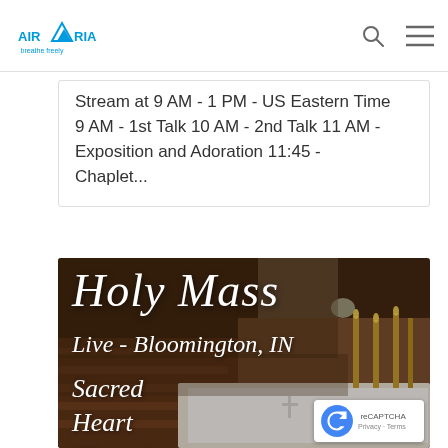AIRAMRIA – navigation bar with logo, search icon, and menu icon
Stream at 9 AM - 1 PM - US Eastern Time 9 AM - 1st Talk 10 AM - 2nd Talk 11 AM - Exposition and Adoration 11:45 - Chaplet...
[Figure (photo): Church interior photo with altar, pews, candles and white altar cloth. Overlaid italic white text reading 'Holy Mass', 'Live - Bloomington, IN', and 'Sacred Heart Chapel'.]